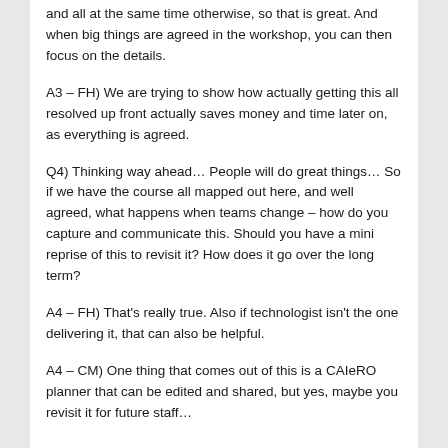and all at the same time otherwise, so that is great. And when big things are agreed in the workshop, you can then focus on the details.
A3 – FH) We are trying to show how actually getting this all resolved up front actually saves money and time later on, as everything is agreed.
Q4) Thinking way ahead… People will do great things… So if we have the course all mapped out here, and well agreed, what happens when teams change – how do you capture and communicate this. Should you have a mini reprise of this to revisit it? How does it go over the long term?
A4 – FH) That's really true. Also if technologist isn't the one delivering it, that can also be helpful.
A4 – CM) One thing that comes out of this is a CAIeRO planner that can be edited and shared, but yes, maybe you revisit it for future staff…